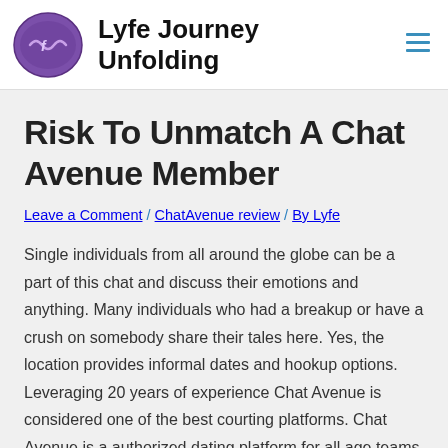Lyfe Journey Unfolding
Risk To Unmatch A Chat Avenue Member
Leave a Comment / ChatAvenue review / By Lyfe
Single individuals from all around the globe can be a part of this chat and discuss their emotions and anything. Many individuals who had a breakup or have a crush on somebody share their tales here. Yes, the location provides informal dates and hookup options. Leveraging 20 years of experience Chat Avenue is considered one of the best courting platforms. Chat Avenue is a authorized dating platform for all age teams.